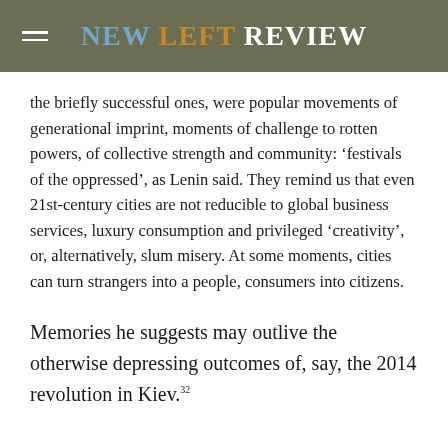New Left Review
the briefly successful ones, were popular movements of generational imprint, moments of challenge to rotten powers, of collective strength and community: ‘festivals of the oppressed’, as Lenin said. They remind us that even 21st-century cities are not reducible to global business services, luxury consumption and privileged ‘creativity’, or, alternatively, slum misery. At some moments, cities can turn strangers into a people, consumers into citizens.
Memories he suggests may outlive the otherwise depressing outcomes of, say, the 2014 revolution in Kiev.32